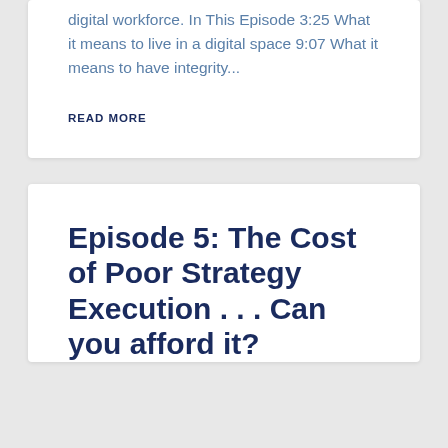digital workforce. In This Episode 3:25 What it means to live in a digital space 9:07 What it means to have integrity...
READ MORE
Episode 5: The Cost of Poor Strategy Execution . . . Can you afford it?